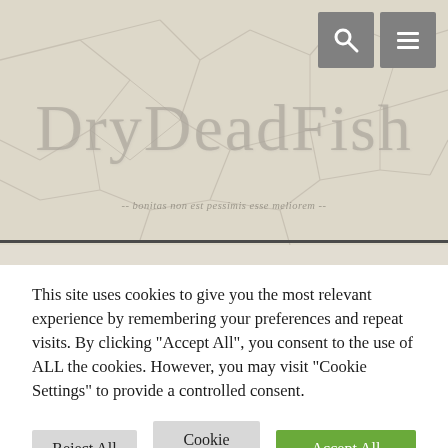[Figure (screenshot): Website header with cracked stone/earth texture background, site logo 'DryDeadFish' in large serif font, tagline in italic, and two gray navigation icon boxes (search and menu) in top right corner]
DryDeadFish
-- bonitas non est pessimis esse meliorem --
This site uses cookies to give you the most relevant experience by remembering your preferences and repeat visits. By clicking "Accept All", you consent to the use of ALL the cookies. However, you may visit "Cookie Settings" to provide a controlled consent.